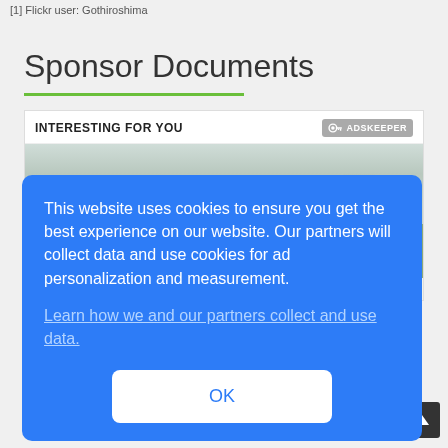[1] Flickr user: Gothiroshima
Sponsor Documents
INTERESTING FOR YOU
[Figure (screenshot): Advertisement image showing stormy/hurricane weather scene with trees and tropical setting. Headline text partially visible: 'A Hurricane Can Be As Powerful As 10 Atomic Bombs']
This website uses cookies to ensure you get the best experience on our website. Our partners will collect data and use cookies for ad personalization and measurement.
Learn how we and our partners collect and use data.
OK